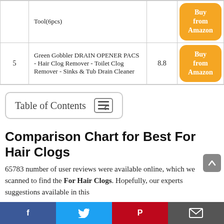| # | Product | Score |  |
| --- | --- | --- | --- |
|  | Tool(6pcs) |  | Buy from Amazon |
| 5 | Green Gobbler DRAIN OPENER PACS - Hair Clog Remover - Toilet Clog Remover - Sinks & Tub Drain Cleaner | 8.8 | Buy from Amazon |
Table of Contents
Comparison Chart for Best For Hair Clogs
65783 number of user reviews were available online, which we scanned to find the For Hair Clogs. Hopefully, our experts suggestions available in this